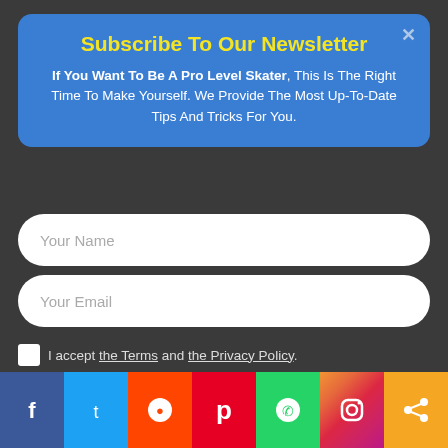Subscribe To Our Newsletter
If You Want To Be A Pro Level Skater, This Is The Right Time To Make Yourself. We Provide The Most Up-To-Date Tips And Tricks For You.
Your Name
Your Email
I accept the Terms and the Privacy Policy.
Subscribe
[Figure (screenshot): Social share icons row: Facebook, Twitter, Reddit, WhatsApp, Pinterest, Instagram, Share. Count badge showing 2. 'by Convertful' badge overlay.]
2 Shares
[Figure (screenshot): Bottom social share bar with Facebook, Twitter, Reddit, Pinterest, WhatsApp, Instagram, Share icons.]